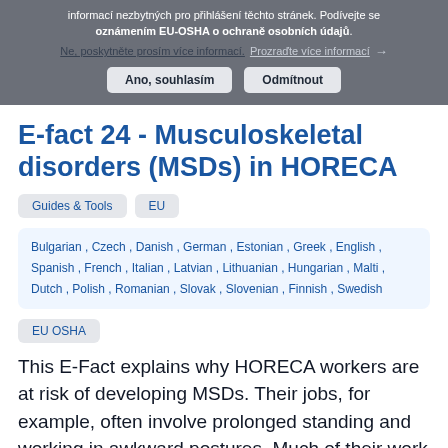informací nezbytných pro přihlášení těchto stránek. Podívejte se oznámením EU-OSHA o ochraně osobních údajů.
Ne, poskytněte prosím více informací. Prozraďte více informací →
Ano, souhlasím   Odmítnout
E-fact 24 - Musculoskeletal disorders (MSDs) in HORECA
Guides & Tools   EU
Bulgarian , Czech , Danish , German , Estonian , Greek , English , Spanish , French , Italian , Latvian , Lithuanian , Hungarian , Malti , Dutch , Polish , Romanian , Slovak , Slovenian , Finnish , Swedish
EU OSHA
This E-Fact explains why HORECA workers are at risk of developing MSDs. Their jobs, for example, often involve prolonged standing and working in awkward postures. Much of their work is physically demanding, stressful and involves long working hours. Employers need to adapt prevention and...